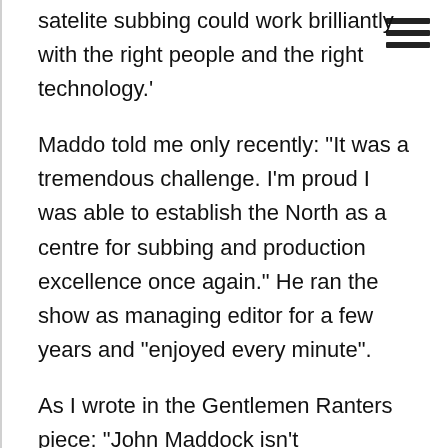satelite subbing could work brilliantly with the right people and the right technology.'
Maddo told me only recently: "It was a tremendous challenge. I'm proud I was able to establish the North as a centre for subbing and production excellence once again." He ran the show as managing editor for a few years and "enjoyed every minute".
As I wrote in the Gentlemen Ranters piece: "John Maddock isn't everybody's cup of tea, but I don't think it keeps him awake at night." He might have got up a few noses but a lot of